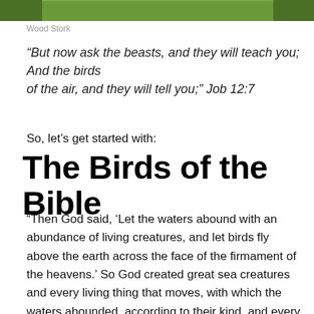[Figure (photo): Top portion of a photo showing green grass, partially cropped at top of page]
Wood Stork
“But now ask the beasts, and they will teach you; And the birds of the air, and they will tell you;” Job 12:7
So, let’s get started with:
The Birds of the Bible
“Then God said, ‘Let the waters abound with an abundance of living creatures, and let birds fly above the earth across the face of the firmament of the heavens.’ So God created great sea creatures and every living thing that moves, with which the waters abounded, according to their kind, and every winged bird according to its kind. And